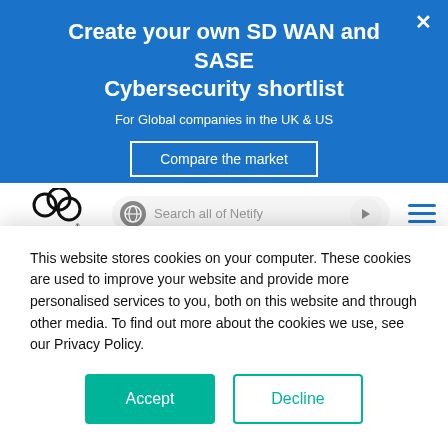Create your own SD WAN and SASE Cybersecurity shortlist
For Global companies in the UK & US
Compare the market
[Figure (logo): Netify logo with interlocking rings and tagline 'Compare the Market']
Cybersecurity Solutions
Cogent is known for their on-net 17 day SLA
This website stores cookies on your computer. These cookies are used to improve your website and provide more personalised services to you, both on this website and through other media. To find out more about the cookies we use, see our Privacy Policy.
Accept
Decline